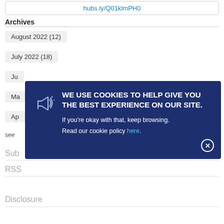hubs.ly/Q01klmPH0
Archives
August 2022 (12)
July 2022 (18)
Ju[ne 2022 - partial]
Ma[y 2022 - partial]
Ap[ril 2022 - partial]
see [more - partial]
Sub[scribe - partial]
RSS
Disclosure
[Figure (screenshot): Cookie consent modal with dark navy blue background. Contains megaphone icon, text 'WE USE COOKIES TO HELP GIVE YOU THE BEST EXPERIENCE ON OUR SITE.' in white uppercase bold, followed by 'If you’re okay with that, keep browsing.' and 'Read our cookie policy here.' with 'here' as a blue hyperlink. Close button (x) in bottom right corner.]